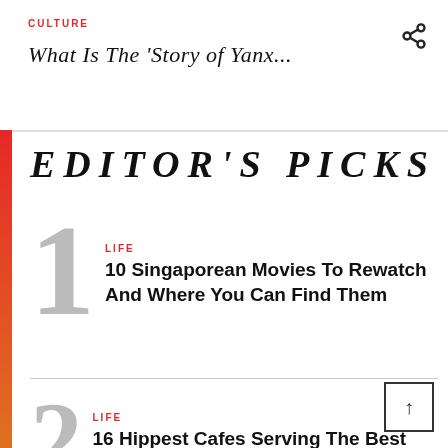CULTURE
What Is The 'Story of Yanx...
EDITOR'S PICKS
LIFE
10 Singaporean Movies To Rewatch And Where You Can Find Them
LIFE
16 Hippest Cafes Serving The Best Coffee In Singapore